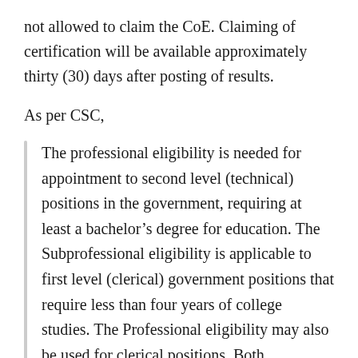not allowed to claim the CoE. Claiming of certification will be available approximately thirty (30) days after posting of results.
As per CSC,
The professional eligibility is needed for appointment to second level (technical) positions in the government, requiring at least a bachelor’s degree for education. The Subprofessional eligibility is applicable to first level (clerical) government positions that require less than four years of college studies. The Professional eligibility may also be used for clerical positions. Both eligibilities, though, cannot be used for